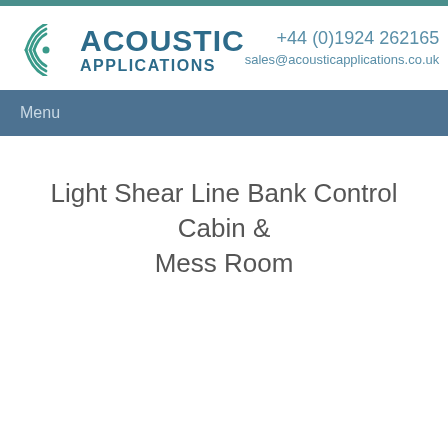[Figure (logo): Acoustic Applications logo with teal sound-wave icon and blue bold text]
+44 (0)1924 262165
sales@acousticapplications.co.uk
Menu
Light Shear Line Bank Control Cabin & Mess Room